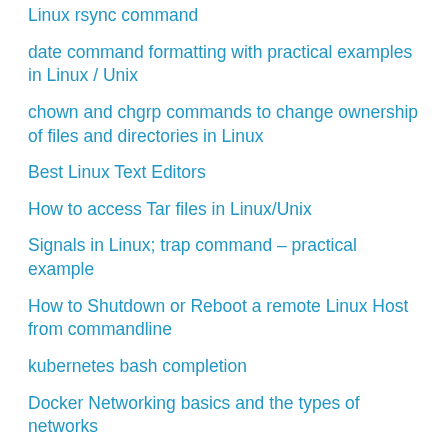Linux rsync command
date command formatting with practical examples in Linux / Unix
chown and chgrp commands to change ownership of files and directories in Linux
Best Linux Text Editors
How to access Tar files in Linux/Unix
Signals in Linux; trap command – practical example
How to Shutdown or Reboot a remote Linux Host from commandline
kubernetes bash completion
Docker Networking basics and the types of networks